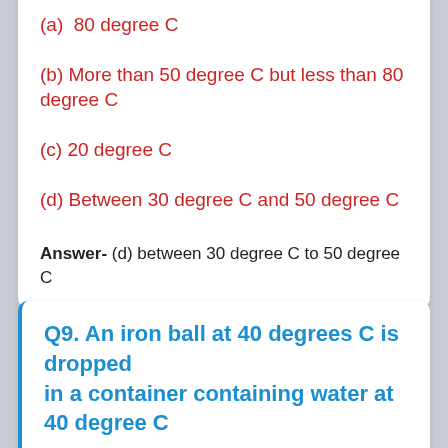(a)  80 degree C
(b) More than 50 degree C but less than 80 degree C
(c) 20 degree C
(d) Between 30 degree C and 50 degree C
Answer- (d) between 30 degree C to 50 degree C
Q9. An iron ball at 40 degrees C is dropped